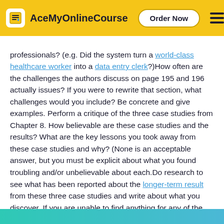AceMyOnlineCourse | Order Now
professionals? (e.g. Did the system turn a world-class healthcare worker into a data entry clerk?)How often are the challenges the authors discuss on page 195 and 196 actually issues? If you were to rewrite that section, what challenges would you include? Be concrete and give examples. Perform a critique of the three case studies from Chapter 8. How believable are these case studies and the results? What are the key lessons you took away from these case studies and why? (None is an acceptable answer, but you must be explicit about what you found troubling and/or unbelievable about each.Do research to see what has been reported about the longer-term result from these three case studies and write about what you discover. If you are unable to find anything for any of the three, explore the issue of long-term healthcare worker satisfaction with such solutions and see how that data compares to what you found from the case studies.